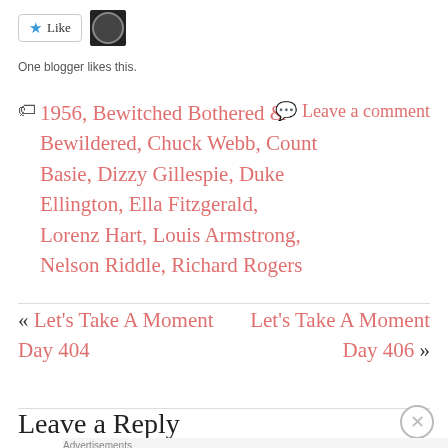[Figure (other): Like button with star icon and blogger avatar thumbnail]
One blogger likes this.
1956, Bewitched Bothered & Bewildered, Chuck Webb, Count Basie, Dizzy Gillespie, Duke Ellington, Ella Fitzgerald, Lorenz Hart, Louis Armstrong, Nelson Riddle, Richard Rogers
Leave a comment
« Let's Take A Moment Day 404
Let's Take A Moment Day 406 »
Leave a Reply
[Figure (other): Jetpack advertisement banner with green background and Secure Your Site button]